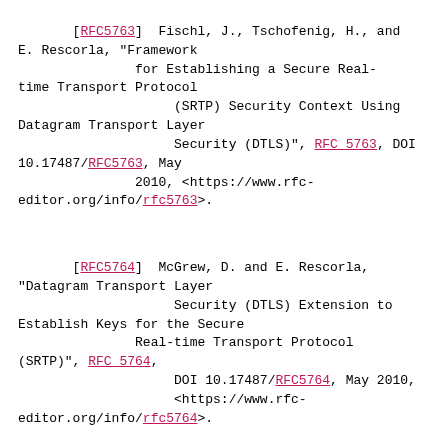[RFC5763]  Fischl, J., Tschofenig, H., and E. Rescorla, "Framework for Establishing a Secure Real-time Transport Protocol (SRTP) Security Context Using Datagram Transport Layer Security (DTLS)", RFC 5763, DOI 10.17487/RFC5763, May 2010, <https://www.rfc-editor.org/info/rfc5763>.
[RFC5764]  McGrew, D. and E. Rescorla, "Datagram Transport Layer Security (DTLS) Extension to Establish Keys for the Secure Real-time Transport Protocol (SRTP)", RFC 5764, DOI 10.17487/RFC5764, May 2010, <https://www.rfc-editor.org/info/rfc5764>.